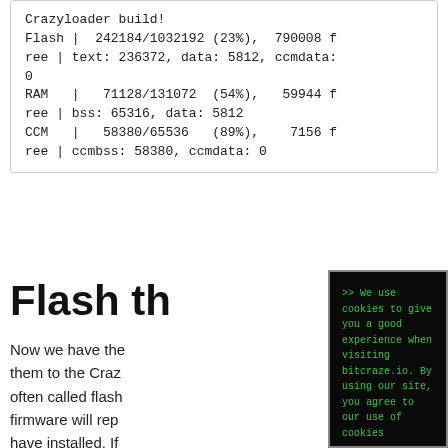Crazyloader build!
Flash |  242184/1032192 (23%),  790008 free | text: 236372, data: 5812, ccmdata: 0
RAM   |   71128/131072  (54%),   59944 free | bss: 65316, data: 5812
CCM   |   58380/65536   (89%),    7156 free | ccmbss: 58380, ccmdata: 0
Flash th
Now we have the them to the Craz often called flash firmware will rep have installed. If firmware just re-
[Figure (screenshot): Terminal cookie consent overlay with green text on black background reading: '>> We use cookies to give you a good experience when visiting bitcraze.io. By using our site, you agree to our use of cookies' followed by a divider line and '| OK, got it! |' button]